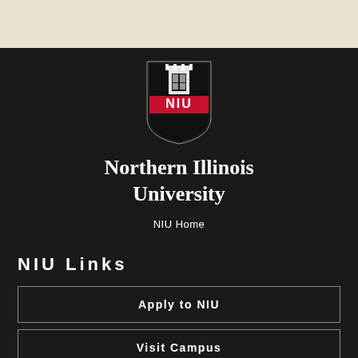[Figure (logo): NIU (Northern Illinois University) shield logo with tower, window, and red banner with NIU text]
Northern Illinois University
NIU Home
NIU Links
Apply to NIU
Visit Campus
Directions/Maps
Contact Us